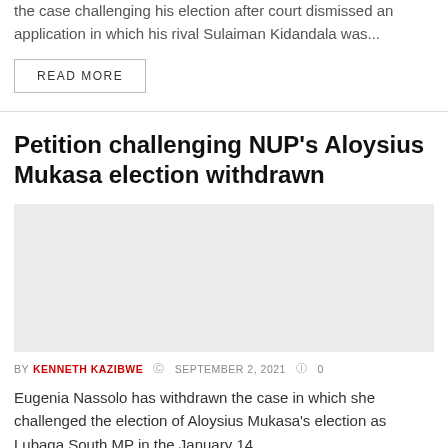the case challenging his election after court dismissed an application in which his rival Sulaiman Kidandala was...
READ MORE
Petition challenging NUP's Aloysius Mukasa election withdrawn
[Figure (photo): Gray placeholder image for article photo]
BY KENNETH KAZIBWE  SEPTEMBER 2, 2021  0
Eugenia Nassolo has withdrawn the case in which she challenged the election of Aloysius Mukasa's election as Lubaga South MP in the January 14